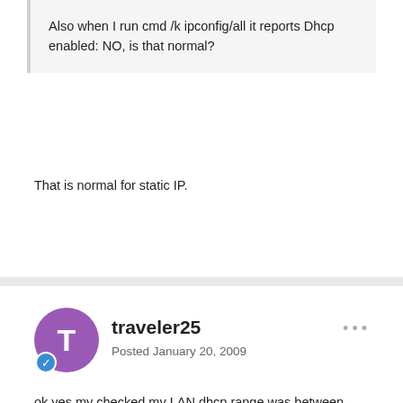Also when I run cmd /k ipconfig/all it reports Dhcp enabled: NO, is that normal?
That is normal for static IP.
traveler25
Posted January 20, 2009
ok yes my checked my LAN dhcp range was between xxx.xxx.xxx.100 and xxx.xxx.xxx.200 so i picked one below this range that is not being used by any other device. Put in the original default gateway addresses and DNS addresses.
Went into routers, NAT menu, under port forwarding put in the same static isp for private isp and put in the port being used by utorrent. Am able to browse web no problem but still says my port does not appear to be open.
bah, went in and took out the port forwarding settings and tried the